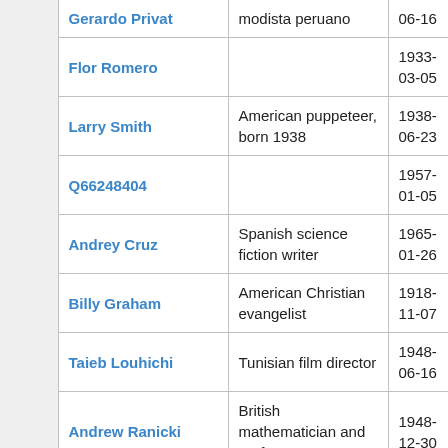|  | Name | Description | Date |
| --- | --- | --- | --- |
|  | Gerardo Privat | modista peruano | 06-16 |
|  | Flor Romero |  | 1933-03-05 |
|  | Larry Smith | American puppeteer, born 1938 | 1938-06-23 |
|  | Q66248404 |  | 1957-01-05 |
|  | Andrey Cruz | Spanish science fiction writer | 1965-01-26 |
|  | Billy Graham | American Christian evangelist | 1918-11-07 |
|  | Taieb Louhichi | Tunisian film director | 1948-06-16 |
|  | Andrew Ranicki | British mathematician and professor | 1948-12-30 |
|  | Andrew Ranicki | British mathematician and professor | 1948-12-30 |
|  | Ben Ozuri | Japanese actor | 1951- |